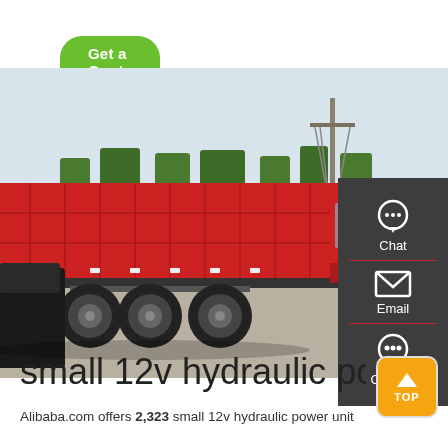Get a Quote
[Figure (photo): Large red dump truck photographed from the side in a parking area, with trees and utility poles in background. Several cars visible around the truck.]
Chat
Email
Contact
small 12v hydraulic power...
Alibaba.com offers 2,323 small 12v hydraulic power unit